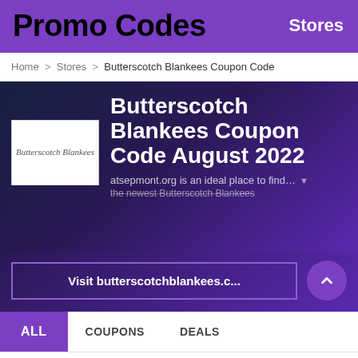Promo Codes   Stores
Home > Stores > Butterscotch Blankees Coupon Code
Butterscotch Blankees Coupon Code August 2022
[Figure (logo): Butterscotch Blankees logo in script font on white background]
atsepmont.org is an ideal place to find… the newest Butterscotch Blankees
Visit butterscotchblankees.c...
ALL   COUPONS   DEALS
FREE SHIPPING